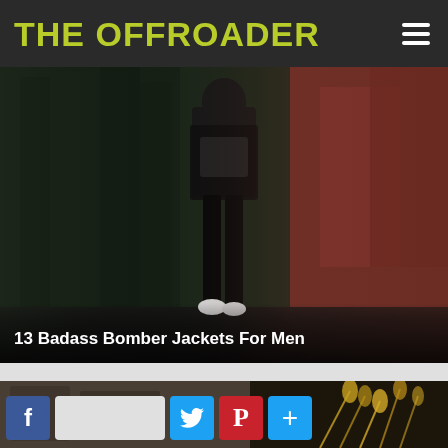THE OFFROADER
[Figure (photo): Dark moody photo of a person in black clothes and jacket standing near a red/rust-colored wall with dark forest trees in background]
13 Badass Bomber Jackets For Men
[Figure (photo): Partial second article image showing stone/rock texture with golden/yellow wheat or grain in low light]
Facebook share button, Twitter share button, Pinterest share button, More share button